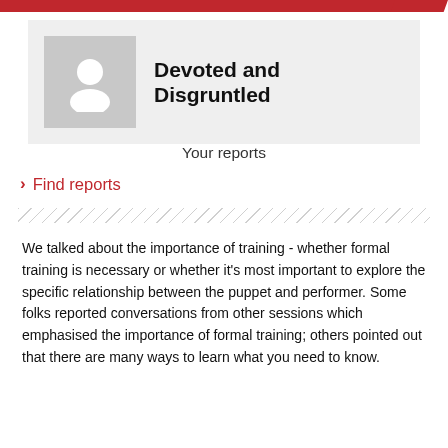[Figure (illustration): Red diagonal banner/bar at top of page]
[Figure (illustration): Gray profile card with anonymous user avatar icon and bold title 'Devoted and Disgruntled']
Devoted and Disgruntled
Your reports
> Find reports
We talked about the importance of training - whether formal training is necessary or whether it's most important to explore the specific relationship between the puppet and performer. Some folks reported conversations from other sessions which emphasised the importance of formal training; others pointed out that there are many ways to learn what you need to know.